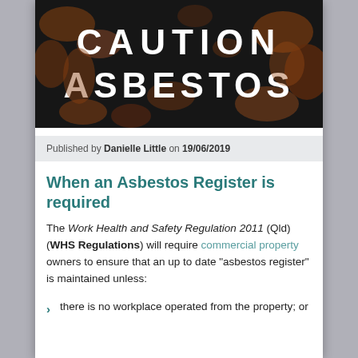[Figure (photo): Photograph of a dark metal surface with orange rust and white stencilled text reading 'CAUTION ASBESTOS']
Published by Danielle Little on 19/06/2019
When an Asbestos Register is required
The Work Health and Safety Regulation 2011 (Qld) (WHS Regulations) will require commercial property owners to ensure that an up to date “asbestos register” is maintained unless:
there is no workplace operated from the property; or